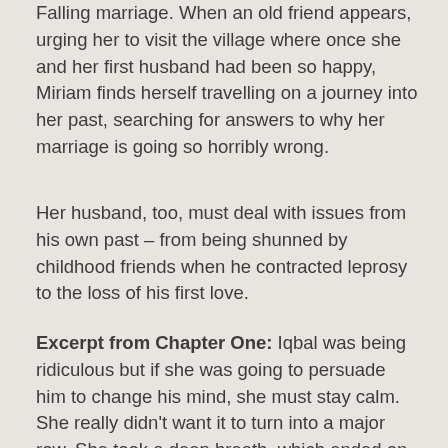Falling marriage. When an old friend appears, urging her to visit the village where once she and her first husband had been so happy, Miriam finds herself travelling on a journey into her past, searching for answers to why her marriage is going so horribly wrong.
Her husband, too, must deal with issues from his own past – from being shunned by childhood friends when he contracted leprosy to the loss of his first love.
Excerpt from Chapter One: Iqbal was being ridiculous but if she was going to persuade him to change his mind, she must stay calm. She really didn't want it to turn into a major row. She took a deep breath, which ended on a yawn. Too tired for